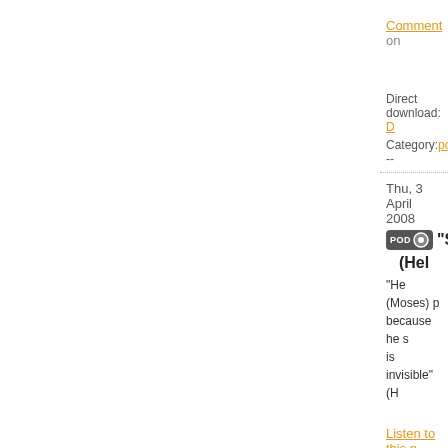Comment on
Direct download: D
Category:podcast --
Thu, 3 April 2008
"Se (Hel
"He (Moses) p because he s is invisible" (H
Listen to this n
Subscribe to t
Read the full b
Visit our webs